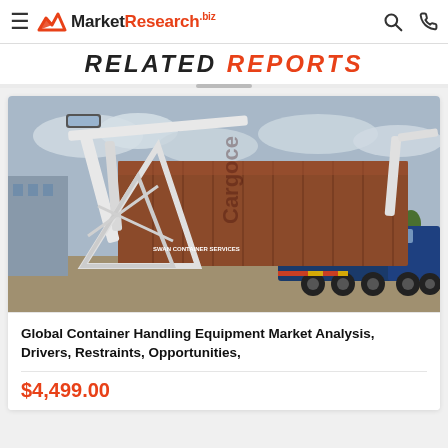MarketResearch.biz
RELATED REPORTS
[Figure (photo): A truck with a sidelifter crane loading/unloading a large brown shipping container in an industrial yard. The crane is white and the truck is blue. Text on the truck reads SWAN CONTAINER SERVICES.]
Global Container Handling Equipment Market Analysis, Drivers, Restraints, Opportunities,
$4,499.00